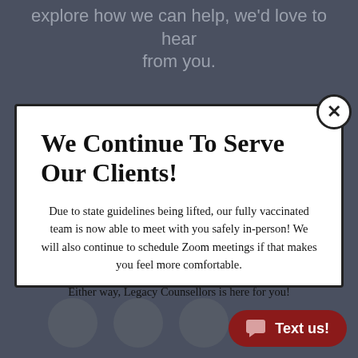explore how we can help, we'd love to hear from you.
We Continue To Serve Our Clients!
Due to state guidelines being lifted, our fully vaccinated team is now able to meet with you safely in-person! We will also continue to schedule Zoom meetings if that makes you feel more comfortable.

Either way, Legacy Counsellors is here for you!